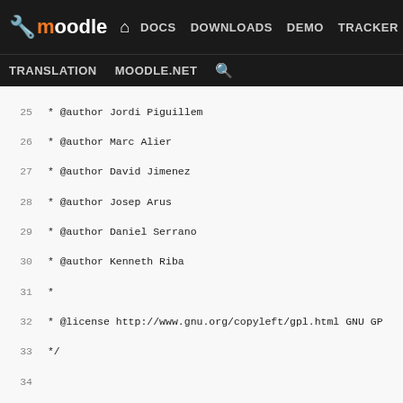moodle | DOCS DOWNLOADS DEMO TRACKER DEV | TRANSLATION MOODLE.NET
25  * @author Jordi Piguillem
26  * @author Marc Alier
27  * @author David Jimenez
28  * @author Josep Arus
29  * @author Daniel Serrano
30  * @author Kenneth Riba
31  *
32  * @license http://www.gnu.org/copyleft/gpl.html GNU GP
33  */
34
35  require_once($CFG->dirroot . '/mod/wiki/lib.php');
36  require_once($CFG->dirroot . '/mod/wiki/parser/parser.p
37  require_once($CFG->libdir . '/filelib.php');
38
39  define('WIKI_REFRESH_CACHE_TIME', 30); // @TODO: To be
40  define('FORMAT_CREOLE', '37');
41  define('FORMAT_NWIKI', '38');
42  define('NO_VALID_RATE', '-999');
43  define('IMPROVEMENT', '+');
44  define('EQUAL', '=');
45  define('WORST', '-');
46
47  define('LOCK_TIMEOUT', 30);
48
49  /**
50  * Get a wiki instance